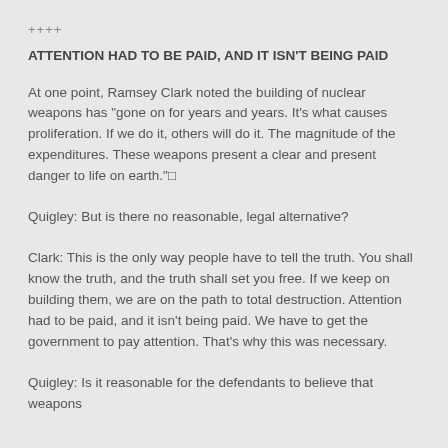++++
ATTENTION HAD TO BE PAID, AND IT ISN'T BEING PAID
At one point, Ramsey Clark noted the building of nuclear weapons has "gone on for years and years. It's what causes proliferation. If we do it, others will do it. The magnitude of the expenditures. These weapons present a clear and present danger to life on earth."
Quigley: But is there no reasonable, legal alternative?
Clark: This is the only way people have to tell the truth. You shall know the truth, and the truth shall set you free. If we keep on building them, we are on the path to total destruction. Attention had to be paid, and it isn't being paid. We have to get the government to pay attention. That's why this was necessary.
Quigley: Is it reasonable for the defendants to believe that weapons